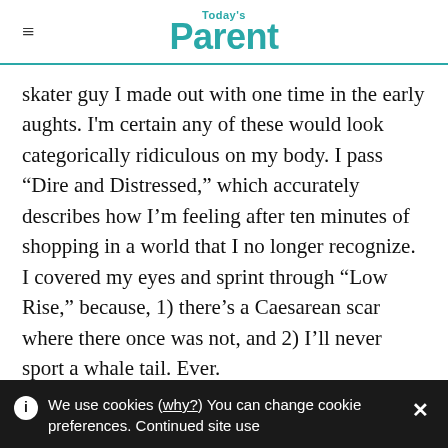Today's Parent
skater guy I made out with one time in the early aughts. I'm certain any of these would look categorically ridiculous on my body. I pass “Dire and Distressed,” which accurately describes how I'm feeling after ten minutes of shopping in a world that I no longer recognize. I covered my eyes and sprint through “Low Rise,” because, 1) there’s a Caesarean scar where there once was not, and 2) I’ll never sport a whale tail. Ever.
We use cookies (why?) You can change cookie preferences. Continued site use